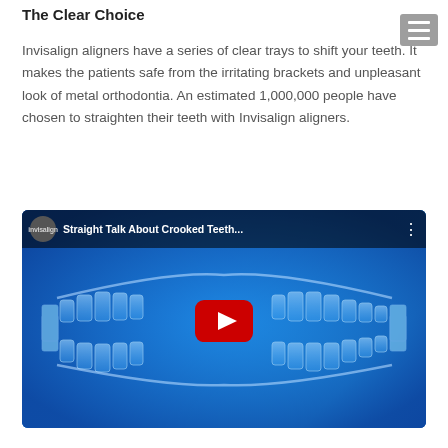The Clear Choice
Invisalign aligners have a series of clear trays to shift your teeth. It makes the patients safe from the irritating brackets and unpleasant look of metal orthodontia. An estimated 1,000,000 people have chosen to straighten their teeth with Invisalign aligners.
[Figure (screenshot): YouTube video thumbnail showing Invisalign clear dental aligners on a blue background, with the title 'Straight Talk About Crooked Teeth...' and a red YouTube play button in the center. An Invisalign logo appears in the top-left corner.]